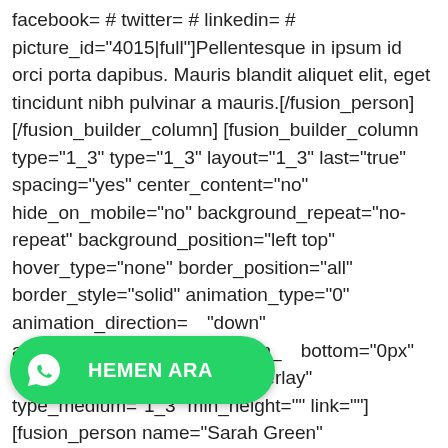facebook= # twitter= # linkedin= # picture_id="4015|full"]Pellentesque in ipsum id orci porta dapibus. Mauris blandit aliquet elit, eget tincidunt nibh pulvinar a mauris.[/fusion_person][/fusion_builder_column] [fusion_builder_column type="1_3" type="1_3" layout="1_3" last="true" spacing="yes" center_content="no" hide_on_mobile="no" background_repeat="no-repeat" background_position="left top" hover_type="none" border_position="all" border_style="solid" animation_type="0" animation_direction="down" animation_speed="0.1" margin_bottom="0px" background_blend_mode="overlay" type_medium="1_3" min_height="" link=""][fusion_person name="Sarah Green" picture="https://avada.theme-fusion.com/classic/wp-content/uploads/sites/54/2021/11/28.jpg" pic_link="https://bit.ly/2wVX4yE" linktarget="_blank" pic_style="none" hover_type="zoomin" content_alignment="center" icon_position="top"
[Figure (other): WhatsApp call button overlay with green background, phone icon, and text 'HEMEN ARA']